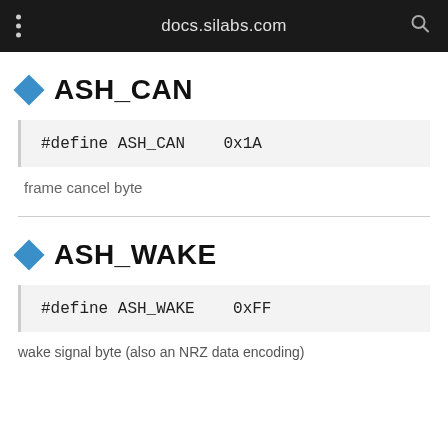docs.silabs.com
ASH_CAN
frame cancel byte
ASH_WAKE
wake signal byte (also an NRZ data encoding)